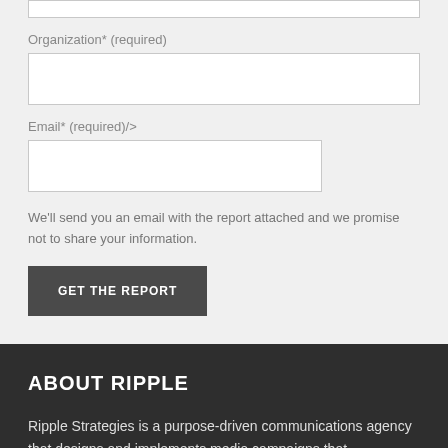Organization* (required)
Email* (required)/>
We'll send you an email with the report attached and we promise not to share your information.
GET THE REPORT
ABOUT RIPPLE
Ripple Strategies is a purpose-driven communications agency that designs and implements media campaigns that...